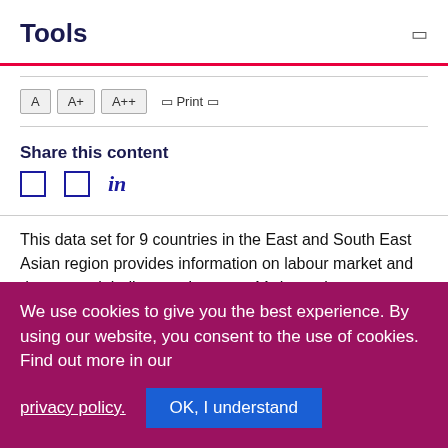Tools
A  A+  A++  □ Print □
Share this content
[Figure (other): Social share icons: two square icon buttons and LinkedIn 'in' text link]
This data set for 9 countries in the East and South East Asian region provides information on labour market and decent work indicators. It covers 11 thematic areas including employment opportunities, earnings, productivity, working children, equal opportunities, safety at work, social security and social dialogue. The available
We use cookies to give you the best experience. By using our website, you consent to the use of cookies. Find out more in our privacy policy.
OK, I understand